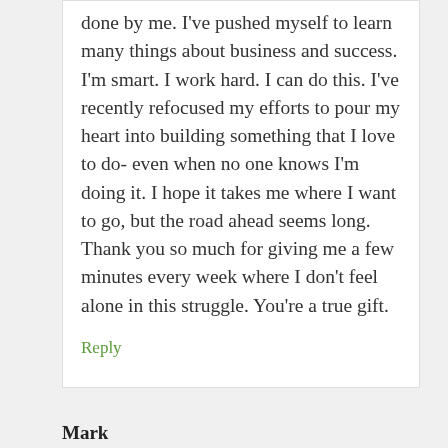done by me. I've pushed myself to learn many things about business and success. I'm smart. I work hard. I can do this. I've recently refocused my efforts to pour my heart into building something that I love to do- even when no one knows I'm doing it. I hope it takes me where I want to go, but the road ahead seems long. Thank you so much for giving me a few minutes every week where I don't feel alone in this struggle. You're a true gift.
Reply
Mark